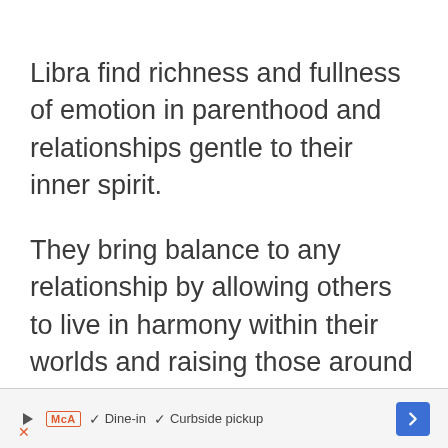Libra find richness and fullness of emotion in parenthood and relationships gentle to their inner spirit.
They bring balance to any relationship by allowing others to live in harmony within their worlds and raising those around them to be the best version of themselves.
▷ MCA ✓ Dine-in ✓ Curbside pickup [navigation arrow]